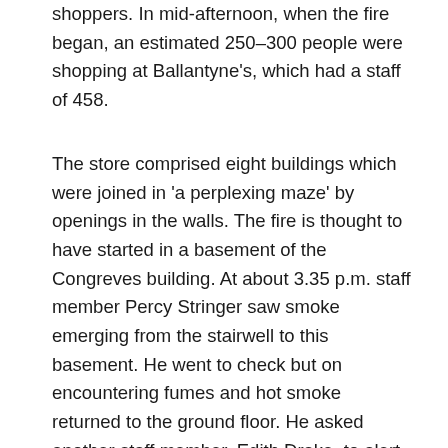shoppers. In mid-afternoon, when the fire began, an estimated 250–300 people were shopping at Ballantyne's, which had a staff of 458.
The store comprised eight buildings which were joined in 'a perplexing maze' by openings in the walls. The fire is thought to have started in a basement of the Congreves building. At about 3.35 p.m. staff member Percy Stringer saw smoke emerging from the stairwell to this basement. He went to check but on encountering fumes and hot smoke returned to the ground floor. He asked another staff member, Edith Drake, to alert the fire brigade and management to a 'cellar fire'.
Stringer and other staff, including assistant manager Roger Ballantyne, tried in vain to put out the fire. As smoke began to drift into other parts of the ground floor, Ballantyne asked another staff member, Eric Boon, to call the fire brigade again. Though staff later confirmed witnessing an earlier call, Boon's call at 3.46 p.m. was the first logged by the brigade. The 10-minute delay in placing the call, or in the brigade's response